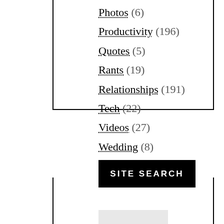Photos (6)
Productivity (196)
Quotes (5)
Rants (19)
Relationships (191)
Tech (22)
Videos (27)
Wedding (8)
SITE SEARCH